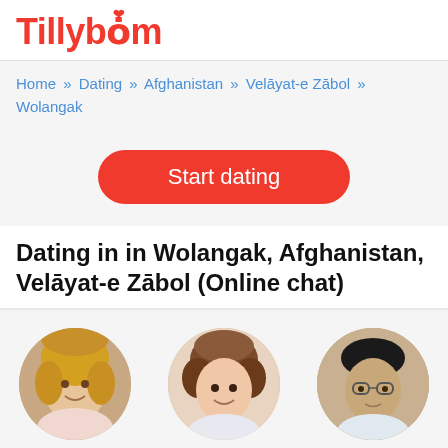Tillybom
Home » Dating » Afghanistan » Velāyat-e Zābol » Wolangak
[Figure (other): Start dating button — red rounded rectangle]
Dating in in Wolangak, Afghanistan, Velāyat-e Zābol (Online chat)
[Figure (photo): Profile photo of Kristin, 41, circular crop, blonde woman smiling]
Kristin, 41
[Figure (photo): Profile photo of Ellen, 75, circular crop, young woman with curly hair smiling]
Ellen, 75
[Figure (photo): Profile photo of Salman, 31, circular crop, man with glasses]
Salman, 31